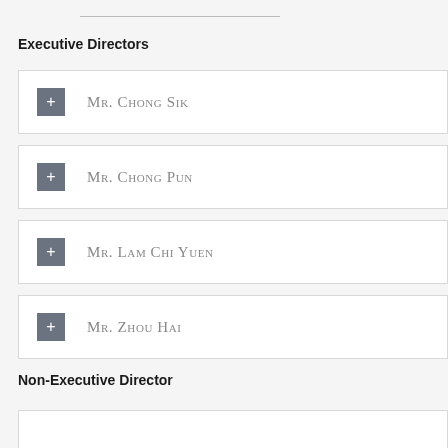Executive Directors
Mr. Chong Sik
Mr. Chong Pun
Mr. Lam Chi Yuen
Mr. Zhou Hai
Non-Executive Director